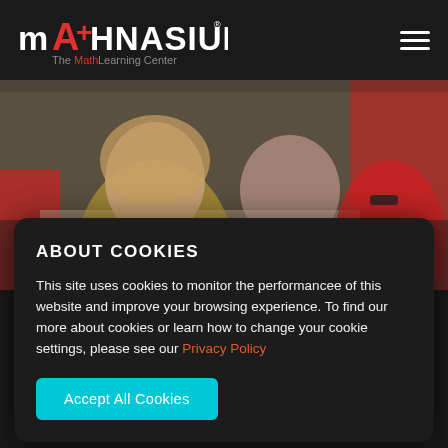[Figure (logo): Mathnasium logo — The Math Learning Center — white and red text on dark background]
[Figure (photo): Children studying together at a table; a smiling girl in yellow foreground, other students and a tutor in red shirt in background]
ABOUT COOKIES
This site uses cookies to monitor the performancee of this website and improve your browsing experience. To find our more about cookies or learn how to change your cookie settings, please see our Privacy Policy
Accept All Cookies